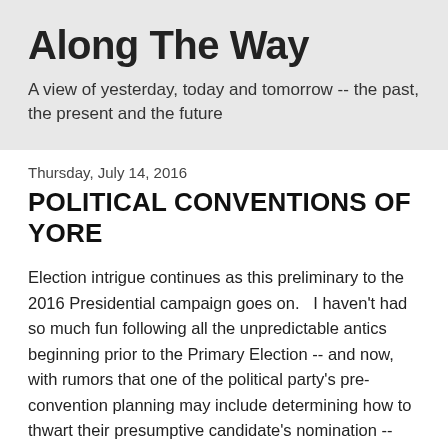Along The Way
A view of yesterday, today and tomorrow -- the past, the present and the future
Thursday, July 14, 2016
POLITICAL CONVENTIONS OF YORE
Election intrigue continues as this preliminary to the 2016 Presidential campaign goes on.   I haven't had so much fun following all the unpredictable antics beginning prior to the Primary Election -- and now, with rumors that one of the political party's pre-convention planning may include determining how to thwart their presumptive candidate's nomination --  since I was first able to vote -- listened to and viewed political party conventions.
That's not to say I haven't considered  this year's election prospects with great concern, even alarm, especially with